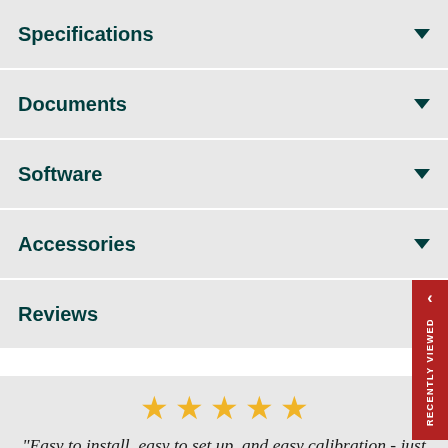Specifications
Documents
Software
Accessories
Reviews
[Figure (other): Red 'Recently Viewed' sidebar tab with chevron arrow and vertical text]
[Figure (other): Five golden star rating icons]
"Easy to install, easy to set up, and easy calibration - just what I was looking for."